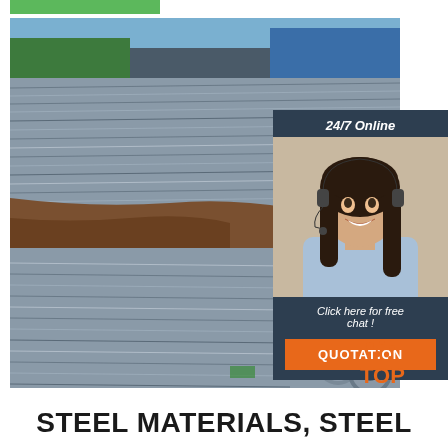[Figure (photo): Green navigation bar at top of page]
[Figure (photo): Large photograph of steel rods and bars stacked in a yard, showing both long steel pipes/rods and round bar ends, with soil and industrial background]
[Figure (photo): Overlay panel on right side with dark blue background showing '24/7 Online' text, photo of a female customer service representative wearing a headset and smiling, 'Click here for free chat!' text, and an orange 'QUOTATION' button]
[Figure (logo): TOP logo with orange dots and text in bottom right corner]
STEEL MATERIALS, STEEL